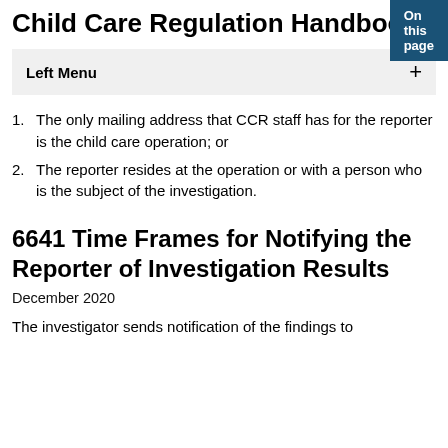On this page
Child Care Regulation Handbook
Left Menu +
1. The only mailing address that CCR staff has for the reporter is the child care operation; or
2. The reporter resides at the operation or with a person who is the subject of the investigation.
6641 Time Frames for Notifying the Reporter of Investigation Results
December 2020
The investigator sends notification of the findings to